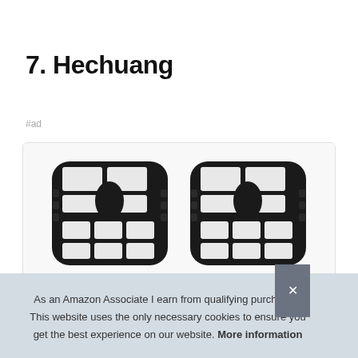7. Hechuang
#ad
[Figure (photo): Two HEPA vacuum filter units side by side, black frames with white filter grids, shown inside a product card with rounded border]
As an Amazon Associate I earn from qualifying purchases. This website uses the only necessary cookies to ensure you get the best experience on our website. More information